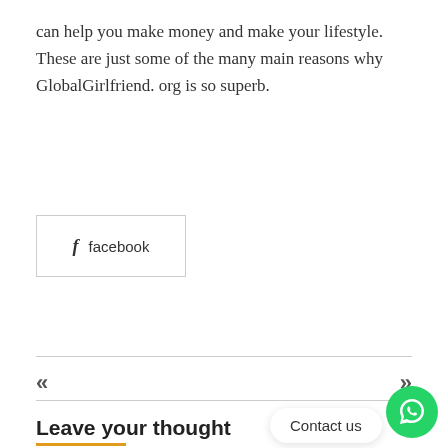can help you make money and make your lifestyle. These are just some of the many main reasons why GlobalGirlfriend. org is so superb.
[Figure (other): Facebook share button with 'f' icon and the word 'facebook']
«
»
Leave your thought
Contact us
[Figure (other): WhatsApp circular green button with phone icon]